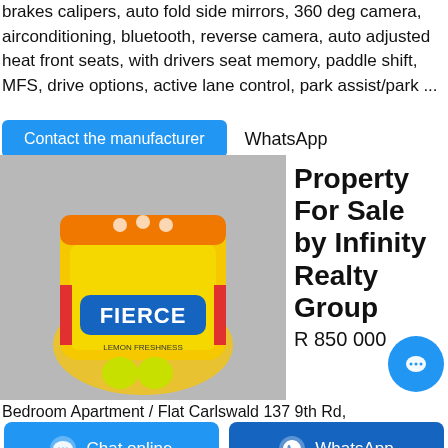brakes calipers, auto fold side mirrors, 360 deg camera, airconditioning, bluetooth, reverse camera, auto adjusted heat front seats, with drivers seat memory, paddle shift, MFS, drive options, active lane control, park assist/park ...
Contact the manufacturer   WhatsApp
[Figure (photo): Yellow and orange bag of FIERCE lemon freshness laundry detergent powder on a grey background]
Property For Sale by Infinity Realty Group
R 850 000
Bedroom Apartment / Flat Carlswald 137 9th Rd,
Chat online   WhatsApp